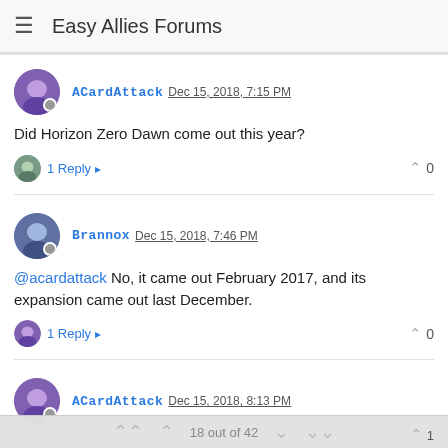Easy Allies Forums
ACardAttack Dec 15, 2018, 7:15 PM
Did Horizon Zero Dawn come out this year?
1 Reply  0
Brannox Dec 15, 2018, 7:46 PM
@acardattack No, it came out February 2017, and its expansion came out last December.
1 Reply  0
ACardAttack Dec 15, 2018, 8:13 PM
@brannox
Damn time flies, thought it came out beginning of this year
18 out of 42